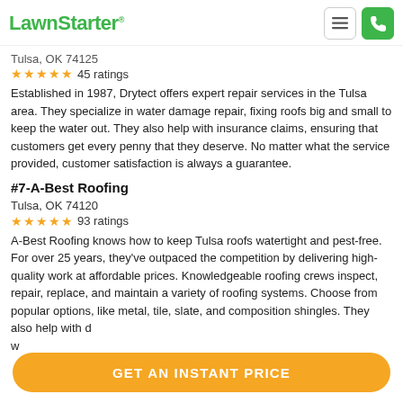LawnStarter®
Tulsa, OK 74125
★★★★★ 45 ratings
Established in 1987, Drytect offers expert repair services in the Tulsa area. They specialize in water damage repair, fixing roofs big and small to keep the water out. They also help with insurance claims, ensuring that customers get every penny that they deserve. No matter what the service provided, customer satisfaction is always a guarantee.
#7-A-Best Roofing
Tulsa, OK 74120
★★★★★ 93 ratings
A-Best Roofing knows how to keep Tulsa roofs watertight and pest-free. For over 25 years, they've outpaced the competition by delivering high-quality work at affordable prices. Knowledgeable roofing crews inspect, repair, replace, and maintain a variety of roofing systems. Choose from popular options, like metal, tile, slate, and composition shingles. They also help with d... w...
GET AN INSTANT PRICE